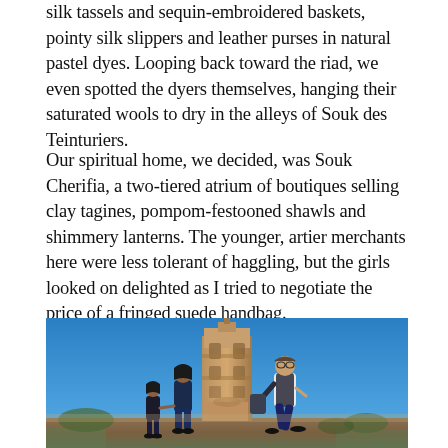silk tassels and sequin-embroidered baskets, pointy silk slippers and leather purses in natural pastel dyes. Looping back toward the riad, we even spotted the dyers themselves, hanging their saturated wools to dry in the alleys of Souk des Teinturiers.
Our spiritual home, we decided, was Souk Cherifia, a two-tiered atrium of boutiques selling clay tagines, pompom-festooned shawls and shimmery lanterns. The younger, artier merchants here were less tolerant of haggling, but the girls looked on delighted as I tried to negotiate the price of a fringed suede handbag.
[Figure (photo): A family of three (adult woman, child, adult man) walking in front of the Koutoubia Mosque minaret in Marrakech against a bright blue sky. The figures are silhouetted/photographed from a low angle, the minaret tower is tall and sandy-coloured in the background.]